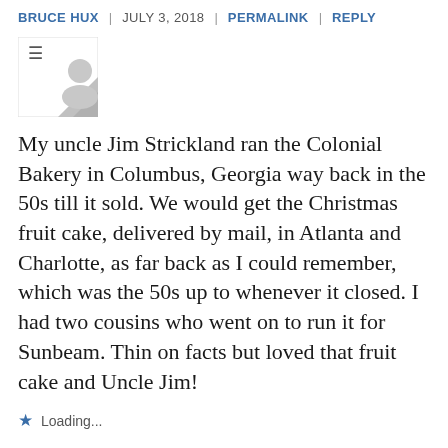BRUCE HUX | JULY 3, 2018 | PERMALINK | REPLY
[Figure (illustration): User avatar placeholder with hamburger menu icon and grey silhouette shape]
My uncle Jim Strickland ran the Colonial Bakery in Columbus, Georgia way back in the 50s till it sold. We would get the Christmas fruit cake, delivered by mail, in Atlanta and Charlotte, as far back as I could remember, which was the 50s up to whenever it closed. I had two cousins who went on to run it for Sunbeam. Thin on facts but loved that fruit cake and Uncle Jim!
Loading...
TOM STACY | JUNE 30, 2018 | PERMALINK | REPLY